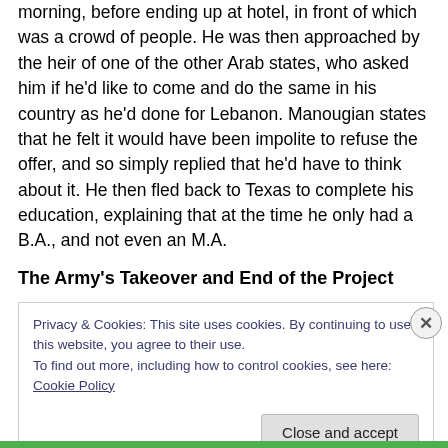morning, before ending up at hotel, in front of which was a crowd of people. He was then approached by the heir of one of the other Arab states, who asked him if he'd like to come and do the same in his country as he'd done for Lebanon. Manougian states that he felt it would have been impolite to refuse the offer, and so simply replied that he'd have to think about it. He then fled back to Texas to complete his education, explaining that at the time he only had a B.A., and not even an M.A.
The Army's Takeover and End of the Project
Privacy & Cookies: This site uses cookies. By continuing to use this website, you agree to their use.
To find out more, including how to control cookies, see here: Cookie Policy